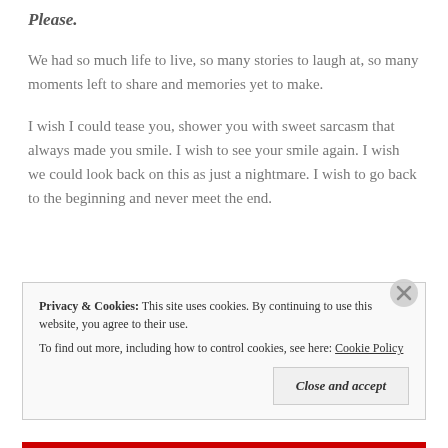Please.
We had so much life to live, so many stories to laugh at, so many moments left to share and memories yet to make.
I wish I could tease you, shower you with sweet sarcasm that always made you smile. I wish to see your smile again. I wish we could look back on this as just a nightmare. I wish to go back to the beginning and never meet the end.
Privacy & Cookies:  This site uses cookies. By continuing to use this website, you agree to their use. To find out more, including how to control cookies, see here: Cookie Policy
Close and accept